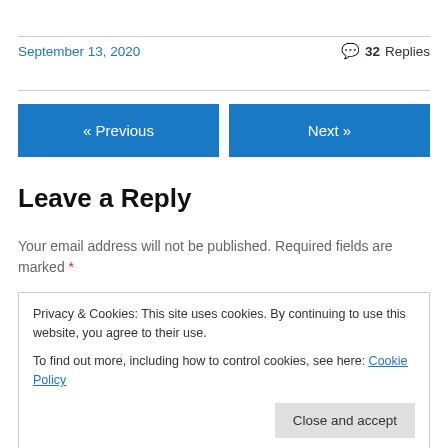September 13, 2020
💬 32 Replies
« Previous
Next »
Leave a Reply
Your email address will not be published. Required fields are marked *
Privacy & Cookies: This site uses cookies. By continuing to use this website, you agree to their use.
To find out more, including how to control cookies, see here: Cookie Policy
Close and accept